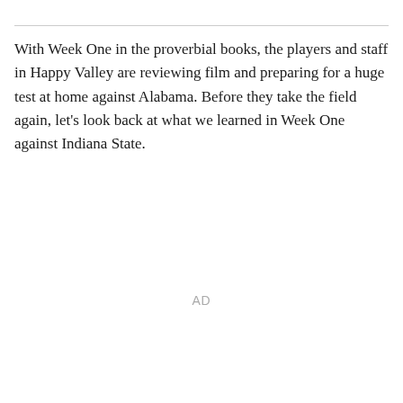With Week One in the proverbial books, the players and staff in Happy Valley are reviewing film and preparing for a huge test at home against Alabama. Before they take the field again, let's look back at what we learned in Week One against Indiana State.
AD